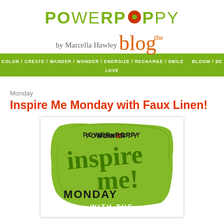[Figure (logo): Power Poppy logo with green uppercase lettering and orange/red poppy dot, 'by Marcella Hawley' script byline, 'the blog' in orange script]
COLOR / CREATE / WANDER / WONDER / ENERGIZE / RECHARGE / SMILE   BLOOM / BE LOVE
Monday
Inspire Me Monday with Faux Linen!
[Figure (illustration): Green brush-stroke background card with 'POWER POPPY' in dark text at top, large green script 'inspire me!' in center, 'MONDAY' in bold dark text, 'WITH THE' at bottom, on white card with shadow]